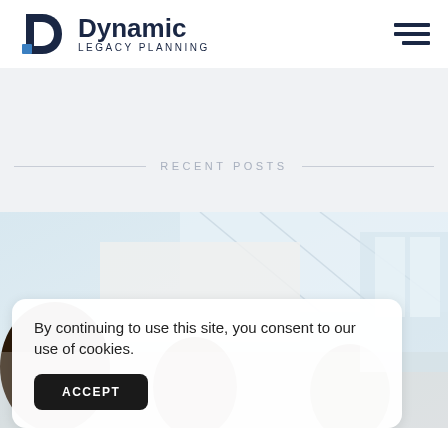Dynamic Legacy Planning
RECENT POSTS
[Figure (photo): Group of people gathered indoors in a bright conservatory-style room with glass ceiling]
By continuing to use this site, you consent to our use of cookies.